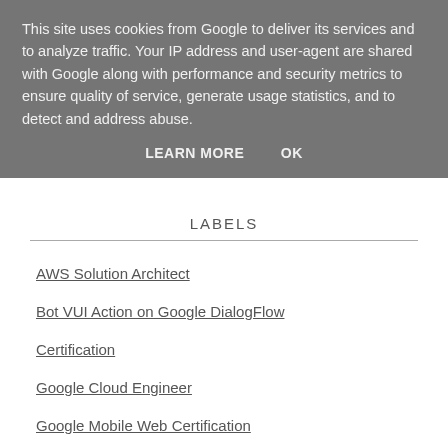This site uses cookies from Google to deliver its services and to analyze traffic. Your IP address and user-agent are shared with Google along with performance and security metrics to ensure quality of service, generate usage statistics, and to detect and address abuse.
LEARN MORE    OK
LABELS
AWS Solution Architect
Bot VUI Action on Google DialogFlow
Certification
Google Cloud Engineer
Google Mobile Web Certification
Machine Learning Tensorflow